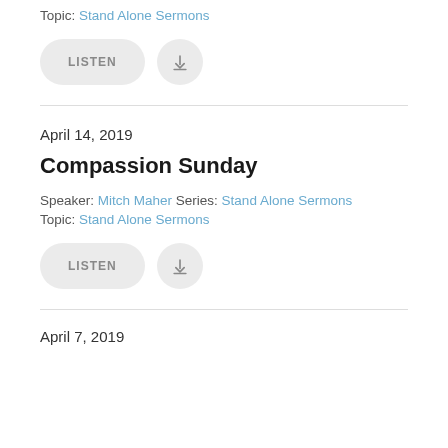Topic: Stand Alone Sermons
[Figure (other): LISTEN button and download icon button]
April 14, 2019
Compassion Sunday
Speaker: Mitch Maher  Series: Stand Alone Sermons  Topic: Stand Alone Sermons
[Figure (other): LISTEN button and download icon button]
April 7, 2019